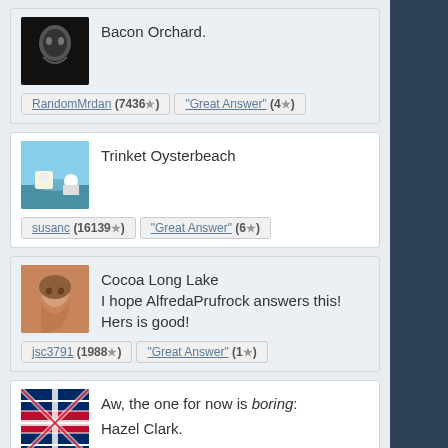Bacon Orchard.
RandomMrdan (7436 ★) | "Great Answer" (4 ★)
Trinket Oysterbeach
susanc (16139 ★) | "Great Answer" (6 ★)
Cocoa Long Lake
I hope AlfredaPrufrock answers this! Hers is good!
jsc3791 (1988 ★) | "Great Answer" (1 ★)
Aw, the one for now is boring:
Hazel Clark.
Sounds like the kind of a gal who knew MacArthur and Patton. Biblically.
aprilsimnel (30719 ★) | "Great Answer" (1 ★)